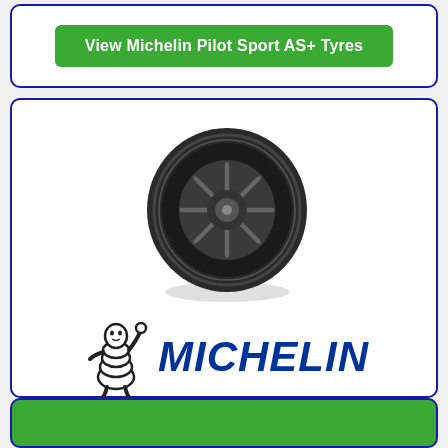[Figure (other): Green button with white bold text reading 'View Michelin Pilot Sport AS+ Tyres' inside a white card with dark blue border]
[Figure (photo): Michelin Pilot Sport Cup 2 Connect tyre photo showing a dark grey/black performance tyre with alloy wheel, angled view with shadow]
[Figure (logo): Michelin logo: Bibendum (Michelin Man) mascot figure on left, bold italic blue MICHELIN text on right, yellow underline bar below]
Pilot Sport Cup 2 Connect
[Figure (other): Green bar at bottom of page, partially visible, same green as button]